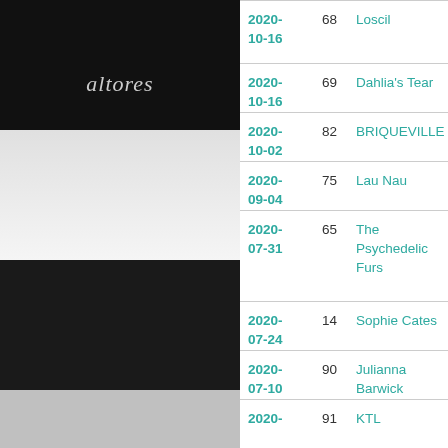[Figure (photo): Album cover - dark/black with stylized logo text (alteres)]
[Figure (photo): Album cover - white/light background with figure bending]
[Figure (photo): Album cover - dark black and white moon/water image]
[Figure (photo): Album cover - gray circular industrial shape]
[Figure (photo): Album cover - dark architectural image (partial)]
| Date | Score | Artist | Track |
| --- | --- | --- | --- |
| 2020-10-16 | 68 | Loscil | "Black Tusk Descent" |
| 2020-10-16 | 69 | Dahlia's Tear | "The Cedar Fore..." |
| 2020-10-02 | 82 | BRIQUEVILLE | "Akte VIII" |
| 2020-09-04 | 75 | Lau Nau | "Ixodida" |
| 2020-07-31 | 65 | The Psychedelic Furs | "Wrong Train" |
| 2020-07-24 | 14 | Sophie Cates | "crowd" |
| 2020-07-10 | 90 | Julianna Barwick | "Nod" |
| 2020- | 91 | KTL | "Silver Lining" |